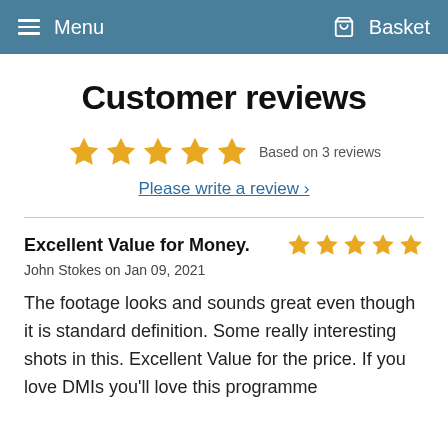Menu   Basket
Customer reviews
Based on 3 reviews
Please write a review ›
Excellent Value for Money.
John Stokes on Jan 09, 2021
The footage looks and sounds great even though it is standard definition. Some really interesting shots in this. Excellent Value for the price. If you love DMIs you'll love this programme